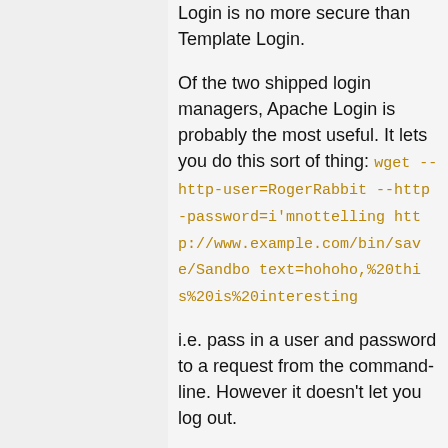Login is no more secure than Template Login.
Of the two shipped login managers, Apache Login is probably the most useful. It lets you do this sort of thing: wget --http-user=RogerRabbit --http-password=i'mnottelling http://www.example.com/bin/save/Sandbo text=hohoho,%20this%20is%20interesting
i.e. pass in a user and password to a request from the command-line. However it doesn't let you log out.
Template Login degrades to url re-writing when you use a client like dillo that does not support cookies. However, you can log out and back in as a different user.
Finally, it would be really neat if someone was to work out how to